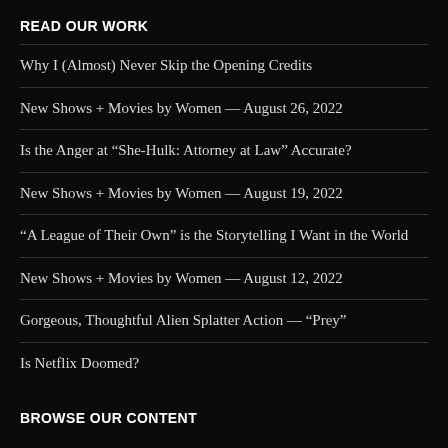READ OUR WORK
Why I (Almost) Never Skip the Opening Credits
New Shows + Movies by Women — August 26, 2022
Is the Anger at “She-Hulk: Attorney at Law” Accurate?
New Shows + Movies by Women — August 19, 2022
“A League of Their Own” is the Storytelling I Want in the World
New Shows + Movies by Women — August 12, 2022
Gorgeous, Thoughtful Alien Splatter Action — “Prey”
Is Netflix Doomed?
BROWSE OUR CONTENT